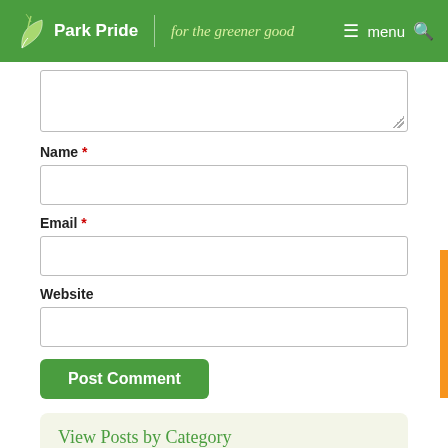Park Pride | for the greener good — menu
(Textarea field — partial, top of comment form)
Name *
Email *
Website
Post Comment
View Posts by Category
Select Category